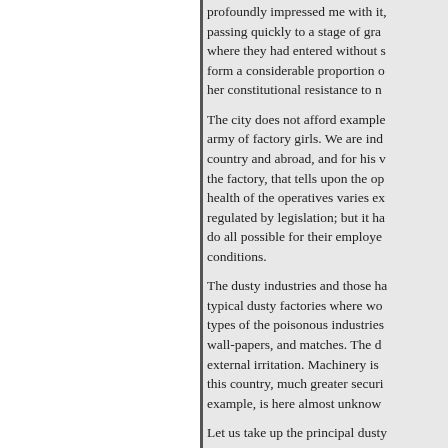profoundly impressed me with it, passing quickly to a stage of gra where they had entered without s form a considerable proportion o her constitutional resistance to n
The city does not afford example army of factory girls. We are ind country and abroad, and for his v the factory, that tells upon the op health of the operatives varies ex regulated by legislation; but it ha do all possible for their employe conditions.
The dusty industries and those ha typical dusty factories where wo types of the poisonous industries wall-papers, and matches. The d external irritation. Machinery is this country, much greater securi example, is here almost unknow
Let us take up the principal dusty dust is composed of silicious par